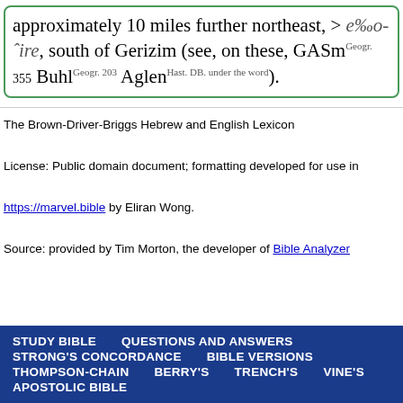approximately 10 miles further northeast, > e‰o-ˆire, south of Gerizim (see, on these, GASm^Geogr. 355 Buhl^Geogr. 203 Aglen^Hast. DB. under the word).
The Brown-Driver-Briggs Hebrew and English Lexicon
License: Public domain document; formatting developed for use in
https://marvel.bible by Eliran Wong.
Source: provided by Tim Morton, the developer of Bible Analyzer
STUDY BIBLE | QUESTIONS AND ANSWERS | STRONG'S CONCORDANCE | BIBLE VERSIONS | THOMPSON-CHAIN | BERRY'S | TRENCH'S | VINE'S | APOSTOLIC BIBLE